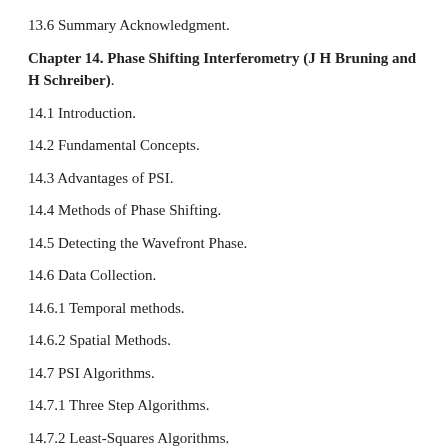13.6 Summary Acknowledgment.
Chapter 14. Phase Shifting Interferometry (J H Bruning and H Schreiber).
14.1 Introduction.
14.2 Fundamental Concepts.
14.3 Advantages of PSI.
14.4 Methods of Phase Shifting.
14.5 Detecting the Wavefront Phase.
14.6 Data Collection.
14.6.1 Temporal methods.
14.6.2 Spatial Methods.
14.7 PSI Algorithms.
14.7.1 Three Step Algorithms.
14.7.2 Least-Squares Algorithms.